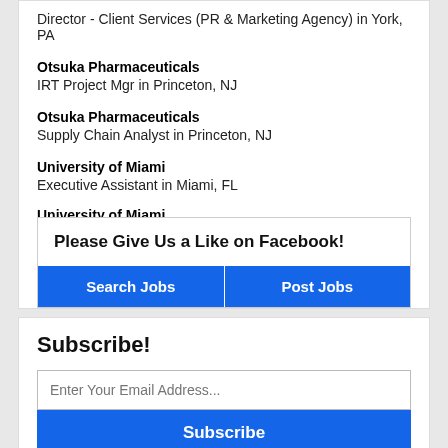Director - Client Services (PR & Marketing Agency) in York, PA
Otsuka Pharmaceuticals
IRT Project Mgr in Princeton, NJ
Otsuka Pharmaceuticals
Supply Chain Analyst in Princeton, NJ
University of Miami
Executive Assistant in Miami, FL
University of Miami
Please Give Us a Like on Facebook!
Search Jobs
Post Jobs
Subscribe!
Enter Your Email Address...
Subscribe
View Past Email Announcements
View Past Weekly E-Newsletters